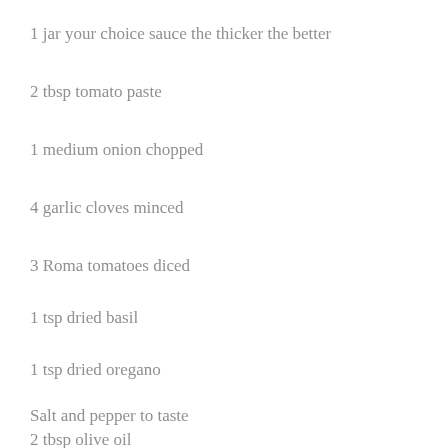1 jar your choice sauce the thicker the better
2 tbsp tomato paste
1 medium onion chopped
4 garlic cloves minced
3 Roma tomatoes diced
1 tsp dried basil
1 tsp dried oregano
Salt and pepper to taste
2 tbsp olive oil